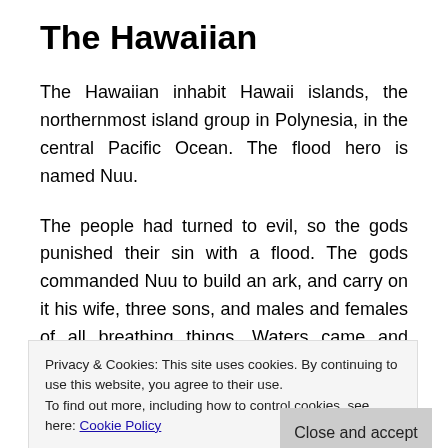The Hawaiian
The Hawaiian inhabit Hawaii islands, the northernmost island group in Polynesia, in the central Pacific Ocean. The flood hero is named Nuu.
The people had turned to evil, so the gods punished their sin with a flood. The gods commanded Nuu to build an ark, and carry on it his wife, three sons, and males and females of all breathing things. Waters came and covered the earth. They subsided to leave the ark on a mountain overlooking a beautiful valley. The gods entered the ark
Privacy & Cookies: This site uses cookies. By continuing to use this website, you agree to their use.
To find out more, including how to control cookies, see here: Cookie Policy
sign of his forgiveness. After the flood, these people